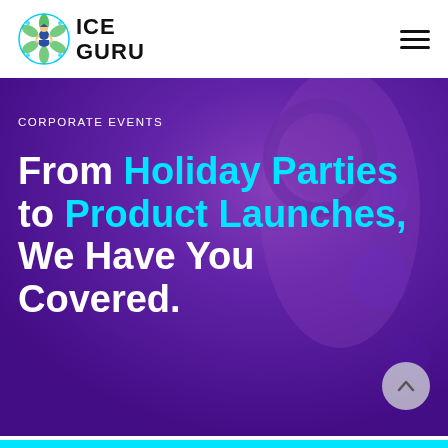ICE Guru
[Figure (photo): Woman with headphones in a nightclub/event setting with purple and blue lighting, blurred background suggesting a concert or corporate event.]
CORPORATE EVENTS
From Holiday Parties to Product Launches, We Have You Covered.